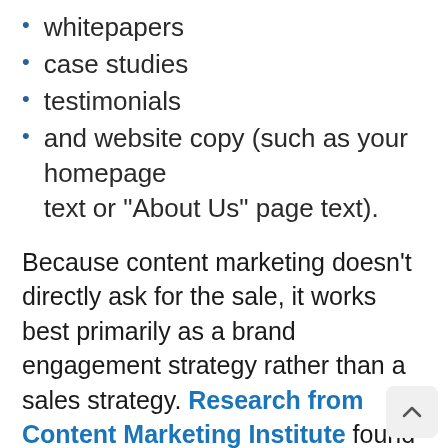whitepapers
case studies
testimonials
and website copy (such as your homepage text or "About Us" page text).
Because content marketing doesn't directly ask for the sale, it works best primarily as a brand engagement strategy rather than a sales strategy. Research from Content Marketing Institute found that while nearly 80-percent of marketers could show that content marketing increased audience engagement, only 58-percent could show that it increased sales. By complementing your content marketing strategy with more direct approaches like email marketing or